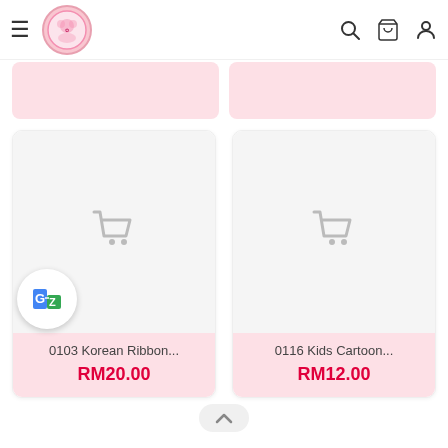Navigation bar with hamburger menu, logo, search, cart, and profile icons
[Figure (screenshot): Two partially visible pink product card strips at top, cropped]
[Figure (screenshot): Product card: 0103 Korean Ribbon... RM20.00, with ghost cart icon and Google Translate badge]
0103 Korean Ribbon...
RM20.00
[Figure (screenshot): Product card: 0116 Kids Cartoon... RM12.00, with ghost cart icon]
0116 Kids Cartoon...
RM12.00